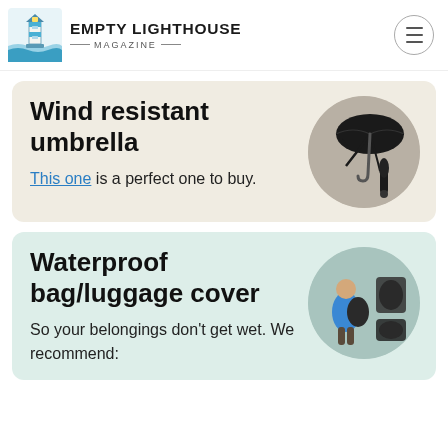EMPTY LIGHTHOUSE MAGAZINE
Wind resistant umbrella
This one is a perfect one to buy.
[Figure (photo): Black folding wind-resistant umbrella shown open and collapsed]
Waterproof bag/luggage cover
So your belongings don't get wet. We recommend:
[Figure (photo): Person with backpack wearing waterproof bag cover, alongside product images of the cover]